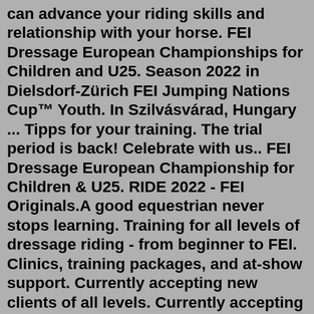can advance your riding skills and relationship with your horse. FEI Dressage European Championships for Children and U25. Season 2022 in Dielsdorf-Zürich FEI Jumping Nations Cup™ Youth. In Szilvásvárad, Hungary ... Tipps for your training. The trial period is back! Celebrate with us.. FEI Dressage European Championship for Children & U25. RIDE 2022 - FEI Originals.A good equestrian never stops learning. Training for all levels of dressage riding - from beginner to FEI. Clinics, training packages, and at-show support. Currently accepting new clients of all levels. Currently accepting new horses for in-house and off-site training. Currently accepting new boarders at TRL Farm, her home facility.Susan: rode FEI as a teenager, returning to dressage now as an adult Suzanne: furthering her dressage education with us Swati : a long time rider, she owns Ixago, Stu and Luisa--three Lusitanos at varying stages of their careers, from training level to PSG, as well as Felix, a former Seven Oaks cob trained to 3rd level.As a coach, Tom has assisted many FEI Junior, Young...